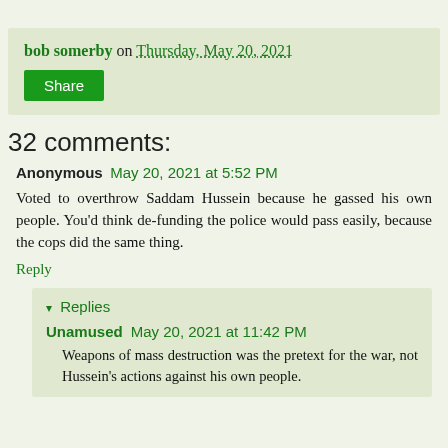bob somerby on Thursday, May 20, 2021
Share
32 comments:
Anonymous May 20, 2021 at 5:52 PM
Voted to overthrow Saddam Hussein because he gassed his own people. You'd think de-funding the police would pass easily, because the cops did the same thing.
Reply
Replies
Unamused May 20, 2021 at 11:42 PM
Weapons of mass destruction was the pretext for the war, not Hussein's actions against his own people.